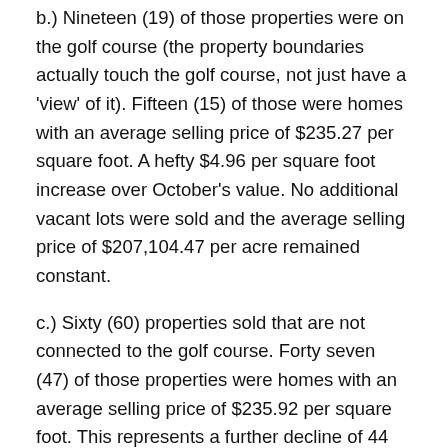b.) Nineteen (19) of those properties were on the golf course (the property boundaries actually touch the golf course, not just have a 'view' of it). Fifteen (15) of those were homes with an average selling price of $235.27 per square foot. A hefty $4.96 per square foot increase over October's value. No additional vacant lots were sold and the average selling price of $207,104.47 per acre remained constant.
c.) Sixty (60) properties sold that are not connected to the golf course. Forty seven (47) of those properties were homes with an average selling price of $235.92 per square foot. This represents a further decline of 44 cents ($0.44) per square foot from the October report. Thirteen (13) properties were vacant lots with and average selling price of $147,900.05 per acre. No additional lots were sold in this category.